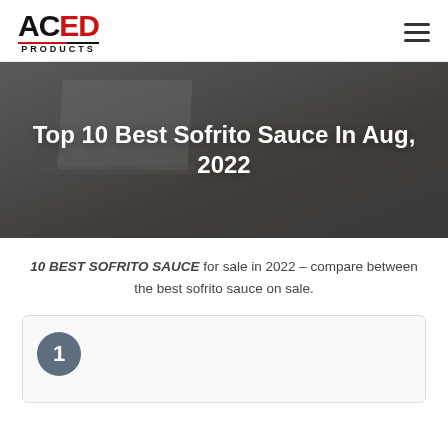ACED PRODUCTS
Top 10 Best Sofrito Sauce In Aug, 2022
10 BEST SOFRITO SAUCE for sale in 2022 – compare between the best sofrito sauce on sale.
1